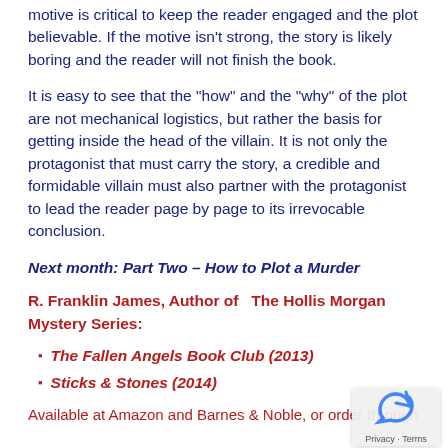motive is critical to keep the reader engaged and the plot believable. If the motive isn't strong, the story is likely boring and the reader will not finish the book.
It is easy to see that the "how" and the "why" of the plot are not mechanical logistics, but rather the basis for getting inside the head of the villain. It is not only the protagonist that must carry the story, a credible and formidable villain must also partner with the protagonist to lead the reader page by page to its irrevocable conclusion.
Next month: Part Two – How to Plot a Murder
R. Franklin James, Author of  The Hollis Morgan Mystery Series:
The Fallen Angels Book Club (2013)
Sticks & Stones (2014)
Available at Amazon and Barnes & Noble, or order through